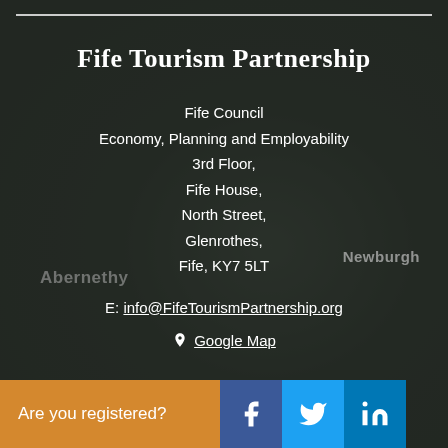Fife Tourism Partnership
Fife Council
Economy, Planning and Employability
3rd Floor,
Fife House,
North Street,
Glenrothes,
Fife, KY7 5LT
E: info@FifeTourismPartnership.org
Google Map
Are you registered?